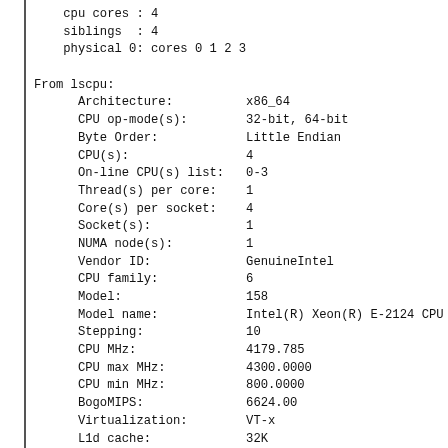cpu cores : 4
    siblings  : 4
    physical 0: cores 0 1 2 3

From lscpu:
      Architecture:          x86_64
      CPU op-mode(s):        32-bit, 64-bit
      Byte Order:            Little Endian
      CPU(s):                4
      On-line CPU(s) list:   0-3
      Thread(s) per core:    1
      Core(s) per socket:    4
      Socket(s):             1
      NUMA node(s):          1
      Vendor ID:             GenuineIntel
      CPU family:            6
      Model:                 158
      Model name:            Intel(R) Xeon(R) E-2124 CPU
      Stepping:              10
      CPU MHz:               4179.785
      CPU max MHz:           4300.0000
      CPU min MHz:           800.0000
      BogoMIPS:              6624.00
      Virtualization:        VT-x
      L1d cache:             32K
      L1i cache:             32K
      L2 cache:              256K
      L3 cache:              8192K
      NUMA node0 CPU(s):     0-3
      Flags:                 fpu vme de pse tsc msr pae